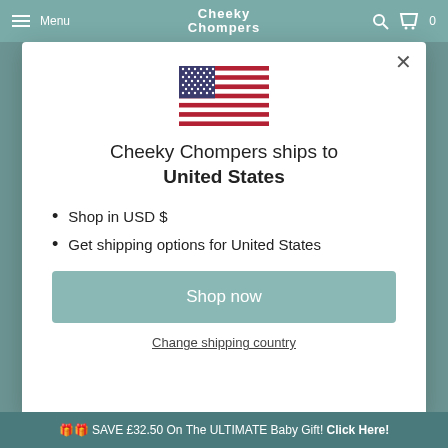Menu | Cheeky Chompers | 0
[Figure (illustration): US flag SVG illustration]
Cheeky Chompers ships to United States
Shop in USD $
Get shipping options for United States
Shop now
Change shipping country
🎁🎁 SAVE £32.50 On The ULTIMATE Baby Gift! Click Here!